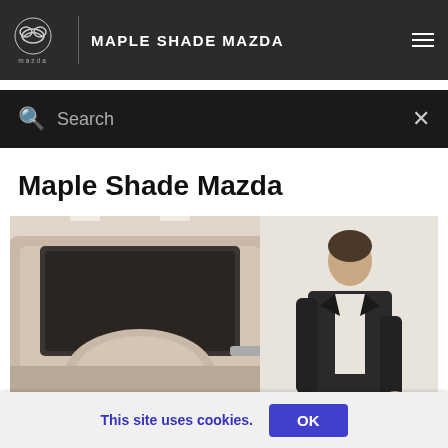MAPLE SHADE MAZDA
Search
Maple Shade Mazda
[Figure (photo): A man in a dark suit standing next to a silver car, viewed from the side-mirror perspective, inside a car dealership showroom.]
This site uses cookies. OK